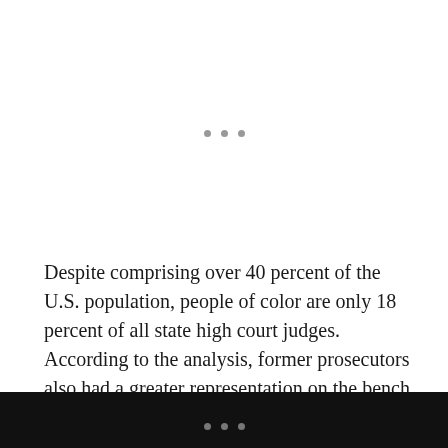[Figure (other): Three grey dots centered on page, acting as a section separator]
Despite comprising over 40 percent of the U.S. population, people of color are only 18 percent of all state high court judges. According to the analysis, former prosecutors also had a greater representation on the bench when compared to justices with a public defender background.

Out of the 25 new state supreme court justices to take the
[Figure (other): Three grey dots on dark bottom bar, acting as navigation indicator]